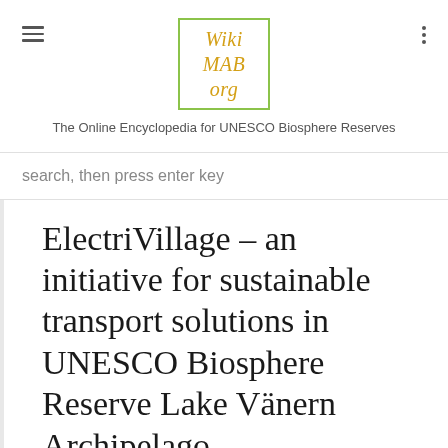WikiMAB.org — The Online Encyclopedia for UNESCO Biosphere Reserves
search, then press enter key
ElectriVillage – an initiative for sustainable transport solutions in UNESCO Biosphere Reserve Lake Vänern Archipelago